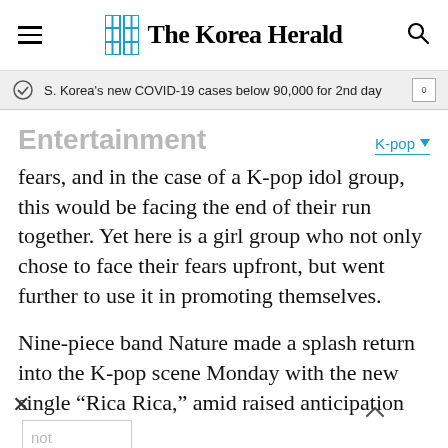The Korea Herald
S. Korea's new COVID-19 cases below 90,000 for 2nd day
Entertainment
K-pop
fears, and in the case of a K-pop idol group, this would be facing the end of their run together. Yet here is a girl group who not only chose to face their fears upfront, but went further to use it in promoting themselves.
Nine-piece band Nature made a splash return into the K-pop scene Monday with the new single “Rica Rica,” amid raised anticipation